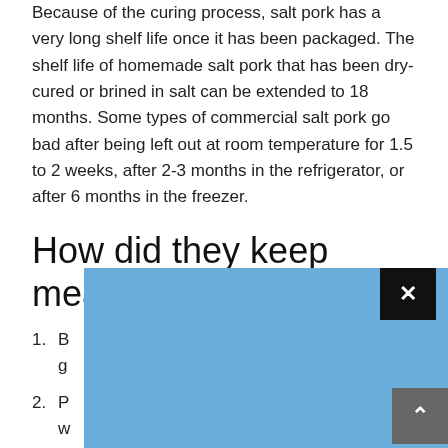Because of the curing process, salt pork has a very long shelf life once it has been packaged. The shelf life of homemade salt pork that has been dry-cured or brined in salt can be extended to 18 months. Some types of commercial salt pork go bad after being left out at room temperature for 1.5 to 2 weeks, after 2-3 months in the refrigerator, or after 6 months in the freezer.
How did they keep meat in the old days?
B... killed the g... hod for p...
P... reserving w... h... at w...
[Figure (screenshot): Blue popup overlay with a black close button (X) in top right corner, partially obscuring the list content below the section header]